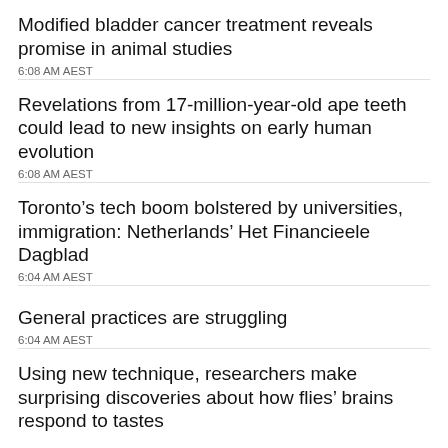Modified bladder cancer treatment reveals promise in animal studies
6:08 AM AEST
Revelations from 17-million-year-old ape teeth could lead to new insights on early human evolution
6:08 AM AEST
Toronto’s tech boom bolstered by universities, immigration: Netherlands’ Het Financieele Dagblad
6:04 AM AEST
General practices are struggling
6:04 AM AEST
Using new technique, researchers make surprising discoveries about how flies’ brains respond to tastes